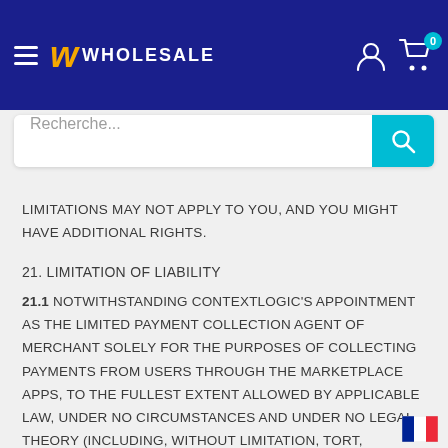[Figure (screenshot): Wholesale marketplace website header with logo, hamburger menu, user icon, cart icon with badge 0, and a search bar with placeholder 'Recherche...']
LIMITATIONS MAY NOT APPLY TO YOU, AND YOU MIGHT HAVE ADDITIONAL RIGHTS.
21. LIMITATION OF LIABILITY
21.1 NOTWITHSTANDING CONTEXTLOGIC'S APPOINTMENT AS THE LIMITED PAYMENT COLLECTION AGENT OF MERCHANT SOLELY FOR THE PURPOSES OF COLLECTING PAYMENTS FROM USERS THROUGH THE MARKETPLACE APPS, TO THE FULLEST EXTENT ALLOWED BY APPLICABLE LAW, UNDER NO CIRCUMSTANCES AND UNDER NO LEGAL THEORY (INCLUDING, WITHOUT LIMITATION, TORT, CONTRACT, STRICT LIABILITY, OR